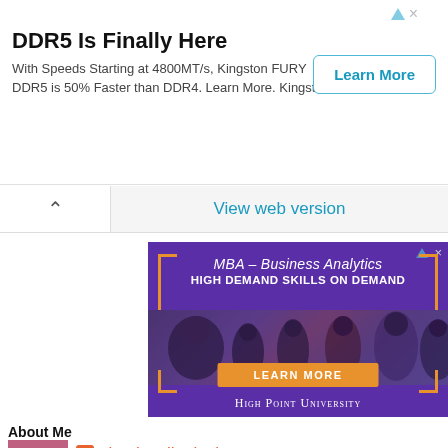[Figure (screenshot): Top banner advertisement for Kingston FURY DDR5 RAM with title 'DDR5 Is Finally Here', subtitle text, and 'Learn More' button]
View web version
[Figure (screenshot): High Point University MBA Business Analytics advertisement with purple background, bracket decorations, photo of students networking, orange 'LEARN MORE' button, and 'High Point University' text]
About Me
[Figure (photo): Small profile photo thumbnail showing colorful nails]
simplynailogical